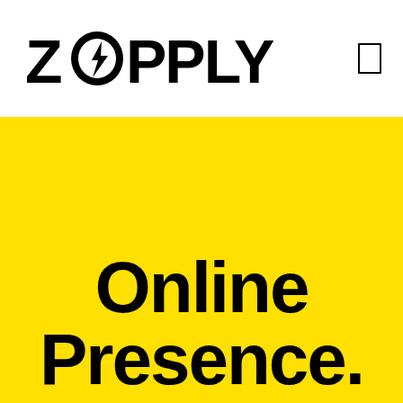[Figure (logo): Zopply logo with lightning bolt inside the letter O, black text on white background]
Online Presence.